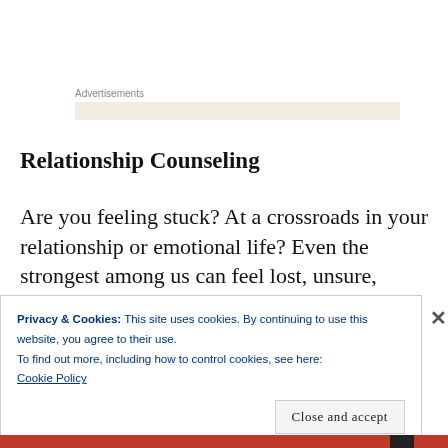Advertisements
Relationship Counseling
Are you feeling stuck? At a crossroads in your relationship or emotional life? Even the strongest among us can feel lost, unsure,
Privacy & Cookies: This site uses cookies. By continuing to use this website, you agree to their use.
To find out more, including how to control cookies, see here:
Cookie Policy
Close and accept